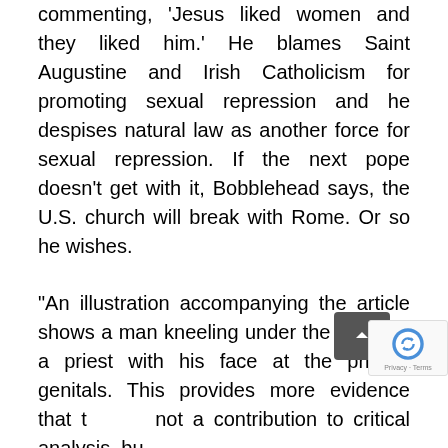commenting, 'Jesus liked women and they liked him.' He blames Saint Augustine and Irish Catholicism for promoting sexual repression and he despises natural law as another force for sexual repression. If the next pope doesn't get with it, Bobblehead says, the U.S. church will break with Rome. Or so he wishes.
“An illustration accompanying the article shows a man kneeling under the robes of a priest with his face at the priest’s genitals. This provides more evidence that the pie not a contribution to critical analysis, but to